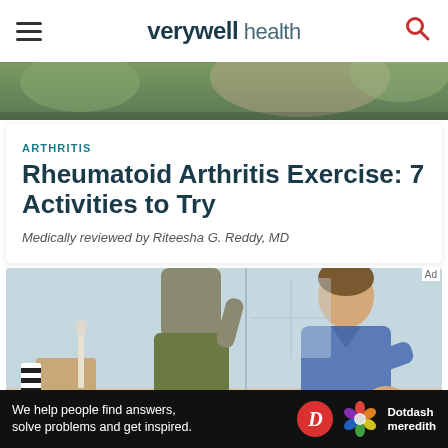verywell health
[Figure (photo): Cropped top portion of a photo showing people outdoors with greenery]
ARTHRITIS
Rheumatoid Arthritis Exercise: 7 Activities to Try
Medically reviewed by Riteesha G. Reddy, MD
[Figure (photo): A physical therapist (man in blue polo shirt) examining or treating a patient's knee. The patient is standing wearing olive/green pants. The setting appears to be a clinical or therapy room with light blue walls and wooden furniture.]
We help people find answers, solve problems and get inspired.
[Figure (logo): Dotdash Meredith logo with colorful flower icon and D circle logo]